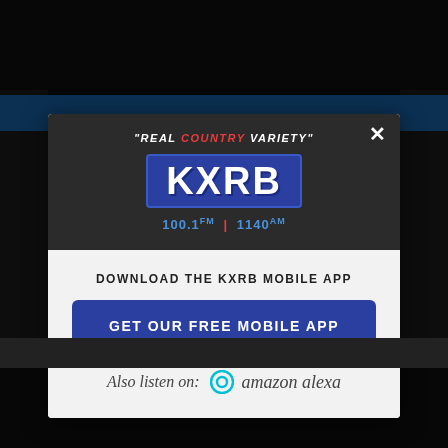[Figure (screenshot): KXRB Radio station modal popup showing logo, download CTA, and Amazon Alexa listening option]
"REAL COUNTRY VARIETY"
KXRB 100.1 FM | 1140 AM
DOWNLOAD THE KXRB MOBILE APP
GET OUR FREE MOBILE APP
Also listen on: amazon alexa